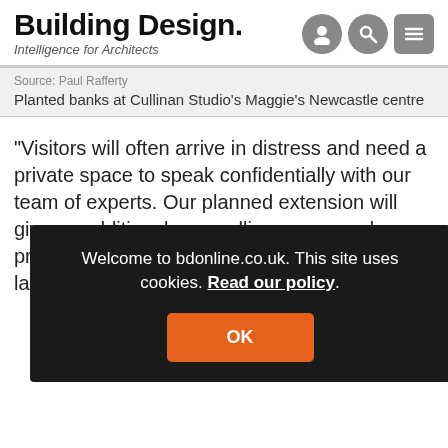Building Design. Intelligence for Architects
Source: Paul Rafferty
Planted banks at Cullinan Studio's Maggie's Newcastle centre
“Visitors will often arrive in distress and need a private space to speak confidentially with our team of experts. Our planned extension will give us additional counselling rooms and private corners for these conversations, plus a larger space to m… w…
Welcome to bdonline.co.uk. This site uses cookies. Read our policy.
Th… as… it embraces a sheltered courtyard garden protected on all sides
OK